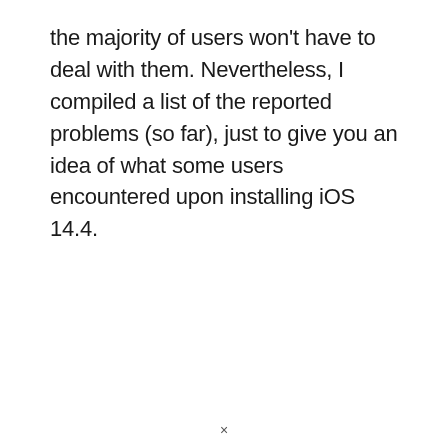the majority of users won't have to deal with them. Nevertheless, I compiled a list of the reported problems (so far), just to give you an idea of what some users encountered upon installing iOS 14.4.
×